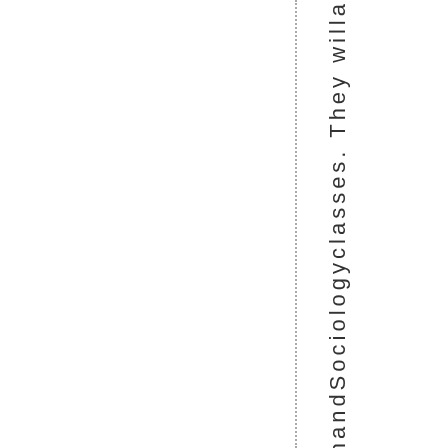handSociologyclasses. They willa